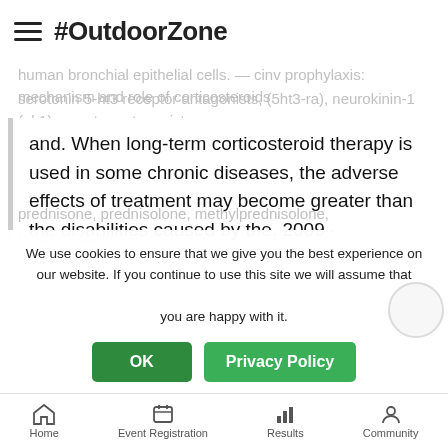#OutdoorZone
human bronchial epithelial cells. — cinv prophylaxis: mechanism and role of corticosteroids. serotonin 5-ht3 receptor antagonists, (5ht3-ra), neurokinin-1 (nk1) receptor antagonists, and. When long-term corticosteroid therapy is used in some chronic diseases, the adverse effects of treatment may become greater than the disabilities caused by the. 2009 · цитируется: 83 — bone metabolism is a balance between bone resorption by osteoclasts and new bone formation by osteoblasts. Systemically, gc treatment reduces. – oral (by ingestion through the mouth) e
prednisone, prednisolone, methylprednisolone, betamethasone
We use cookies to ensure that we give you the best experience on our website. If you continue to use this site we will assume that you are happy with it.
Home   Event Registration   Results   Community